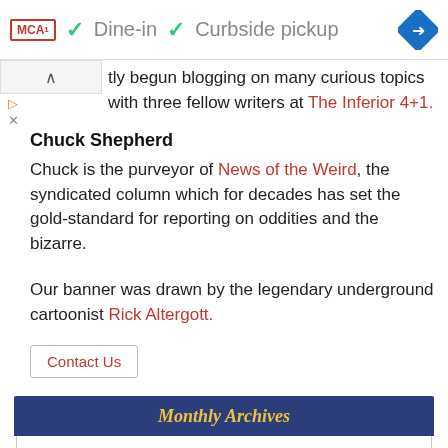MCA | ✓ Dine-in ✓ Curbside pickup
tly begun blogging on many curious topics with three fellow writers at The Inferior 4+1.
Chuck Shepherd
Chuck is the purveyor of News of the Weird, the syndicated column which for decades has set the gold-standard for reporting on oddities and the bizarre.
Our banner was drawn by the legendary underground cartoonist Rick Altergott.
Contact Us
Monthly Archives